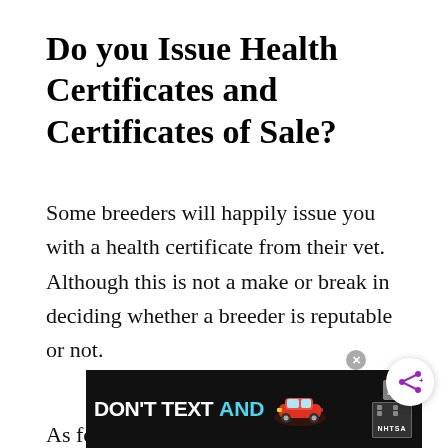Do you Issue Health Certificates and Certificates of Sale?
Some breeders will happily issue you with a health certificate from their vet. Although this is not a make or break in deciding whether a breeder is reputable or not.
As for certificates of sale, there are some states in the US that require that one is issued by the breeder.
[Figure (other): Advertisement banner: DON'T TEXT AND [car image] with NHTSA logo and ad close button]